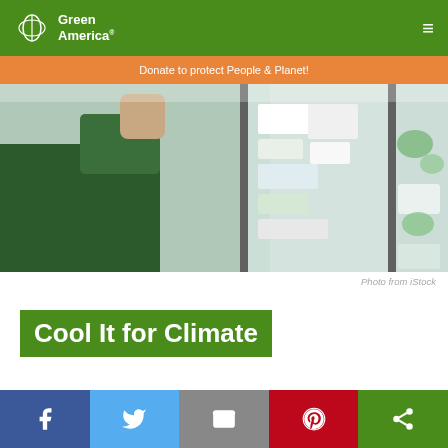Green America — Donate to protect People & Planet!
[Figure (photo): Person reaching into a grocery store refrigerator/freezer display case, viewed from outside through the glass doors. Items visible on shelves inside.]
Photo from iStock
Cool It for Climate